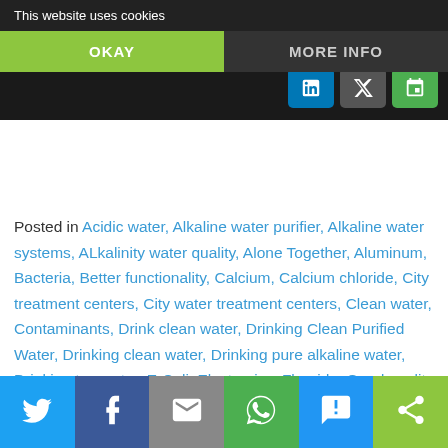This website uses cookies | OKAY | MORE INFO
Posted in Acidic water, Alkaline water purifier, Alkaline water systems, ALkalinity water quality, Alone Together, Aluminum, Bacteria, Better functionality, Calcium, Calcium chloride, City treatment centers, City water treatment centers, Clean water, Contaminants, Drink clean water, Drinking Clean Purified Water, Drinking clean water, Drinking pure alkaline water, Drinking tap water, E-Coli, Electronics, Fluoride, Good quality premium water, Health benefits of alkaline water, Health benefits or purified drinking water, How to purify your water, How to purity tap water, Magnesium, Magnesium fluoride, Office electronic systems, Office Electronics, Optimizable health, Produce pure alkaline water, Quality alkaline water, Recycled sewage water, Reverse osmosis, Reverse osmosis alkaline water, Reverse osmosis alkaline water
Twitter | Facebook | Email | WhatsApp | SMS | Share